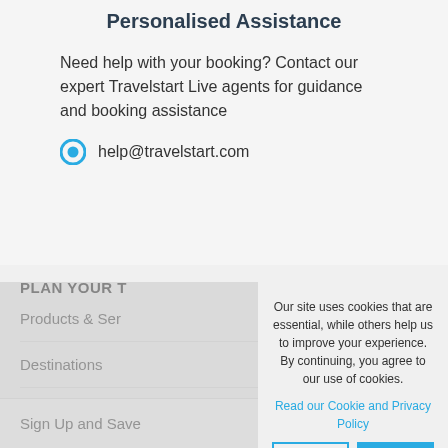Personalised Assistance
Need help with your booking? Contact our expert Travelstart Live agents for guidance and booking assistance
help@travelstart.com
PLAN YOUR T…
Products & Ser…
Destinations
Top Airlines
Sign Up and Save
Our site uses cookies that are essential, while others help us to improve your experience. By continuing, you agree to our use of cookies.
Read our Cookie and Privacy Policy
Dismiss
Got it!